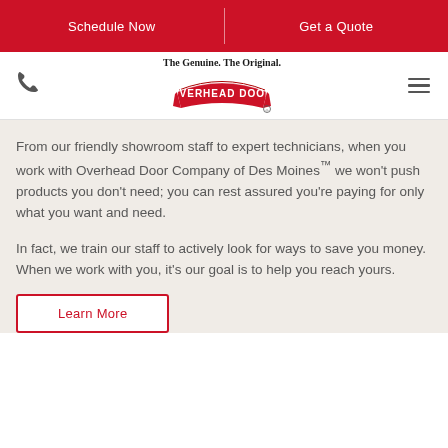Schedule Now | Get a Quote
[Figure (logo): Overhead Door logo with tagline 'The Genuine. The Original.' and red arch banner with white text]
From our friendly showroom staff to expert technicians, when you work with Overhead Door Company of Des Moines™ we won't push products you don't need; you can rest assured you're paying for only what you want and need.
In fact, we train our staff to actively look for ways to save you money. When we work with you, it's our goal is to help you reach yours.
Learn More